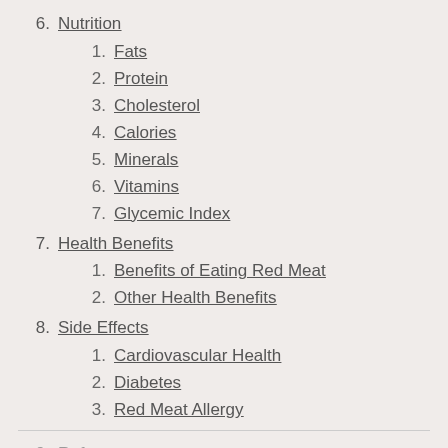6. Nutrition
1. Fats
2. Protein
3. Cholesterol
4. Calories
5. Minerals
6. Vitamins
7. Glycemic Index
7. Health Benefits
1. Benefits of Eating Red Meat
2. Other Health Benefits
8. Side Effects
1. Cardiovascular Health
2. Diabetes
3. Red Meat Allergy
9. References